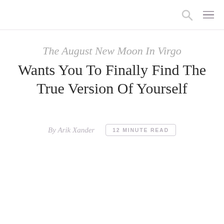[search icon] [menu icon]
The August New Moon In Virgo Wants You To Finally Find The True Version Of Yourself
By Arik Xander   12 MINUTE READ